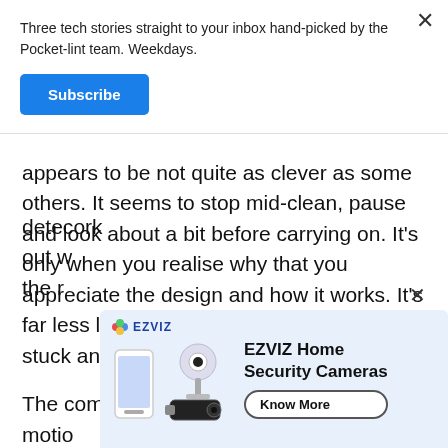Three tech stories straight to your inbox hand-picked by the Pocket-lint team. Weekdays.
Subscribe
appears to be not quite as clever as some others. It seems to stop mid-clean, pause and look about a bit before carrying on. It's only when you realise why that you appreciate the design and how it works. It's far less likely to bump into things or get stuck and does its job without much fuss.
The combination of these sensors and motion detection does, however, work out w... the r...
[Figure (other): EZVIZ Home Security Cameras advertisement banner with logo, product image of cameras, and a Know More button]